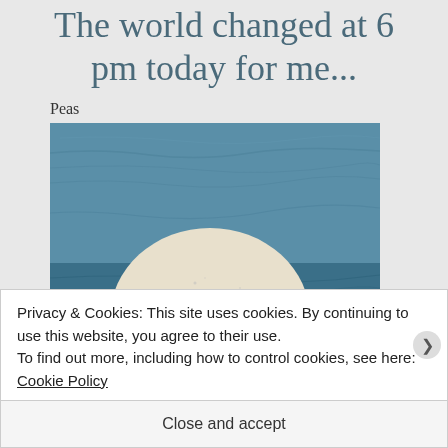The world changed at 6 pm today for me...
Peas
[Figure (photo): A photo of a smooth stone/pebble with the text 'Anything is possibl...' printed on it in bold black letters, resting against a blue leather background.]
Privacy & Cookies: This site uses cookies. By continuing to use this website, you agree to their use.
To find out more, including how to control cookies, see here: Cookie Policy
Close and accept